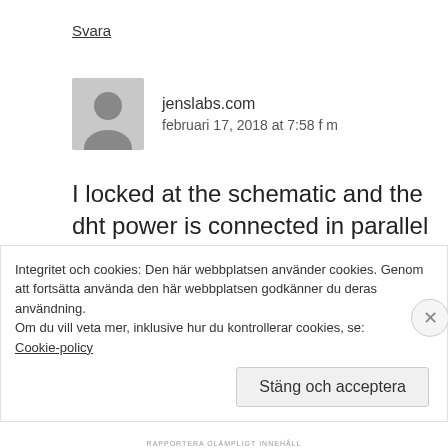Svara
jenslabs.com
februari 17, 2018 at 7:58 f m
I locked at the schematic and the dht power is connected in parallel but the sensor pin is connected directly to the Arduino.
Integritet och cookies: Den här webbplatsen använder cookies. Genom att fortsätta använda den här webbplatsen godkänner du deras användning.
Om du vill veta mer, inklusive hur du kontrollerar cookies, se: Cookie-policy
Stäng och acceptera